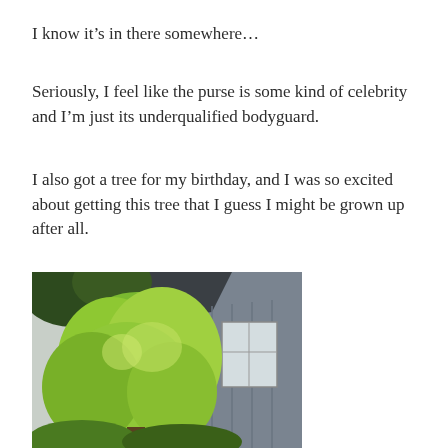I know it’s in there somewhere…
Seriously, I feel like the purse is some kind of celebrity and I’m just its underqualified bodyguard.
I also got a tree for my birthday, and I was so excited about getting this tree that I guess I might be grown up after all.
[Figure (photo): A leafy green tree in front of a grey house with vertical siding and windows, photographed outdoors in bright daylight.]